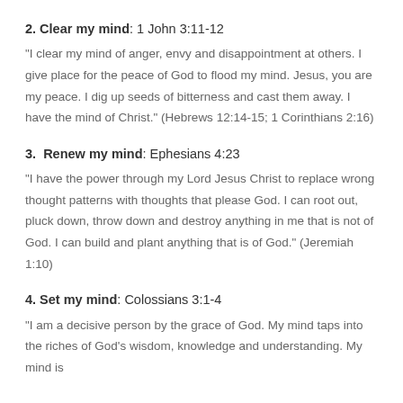2. Clear my mind: 1 John 3:11-12
“I clear my mind of anger, envy and disappointment at others. I give place for the peace of God to flood my mind. Jesus, you are my peace. I dig up seeds of bitterness and cast them away. I have the mind of Christ.” (Hebrews 12:14-15; 1 Corinthians 2:16)
3.  Renew my mind: Ephesians 4:23
“I have the power through my Lord Jesus Christ to replace wrong thought patterns with thoughts that please God. I can root out, pluck down, throw down and destroy anything in me that is not of God. I can build and plant anything that is of God.” (Jeremiah 1:10)
4. Set my mind: Colossians 3:1-4
“I am a decisive person by the grace of God. My mind taps into the riches of God’s wisdom, knowledge and understanding. My mind is